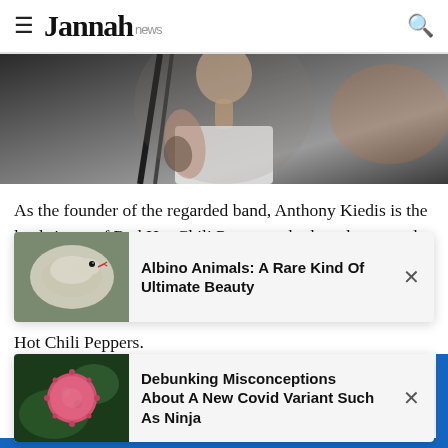Jannah news
[Figure (photo): Close-up photo of a tattooed male singer on stage holding a microphone stand, wearing a white t-shirt]
As the founder of the regarded band, Anthony Kiedis is the lead singer of Red Hot Chili Peppers who has also earned so many credits for his performance and singing, while he was also one of the founders of the band, even though most of the band is mostly concealed of the band, as he also has had has worked with other names outside of Red Hot Chili Peppers.
[Figure (photo): Albino snake curled up - notification card thumbnail]
Albino Animals: A Rare Kind Of Ultimate Beauty
[Figure (photo): Pink spherical virus cell - notification card thumbnail]
Debunking Misconceptions About A New Covid Variant Such As Ninja